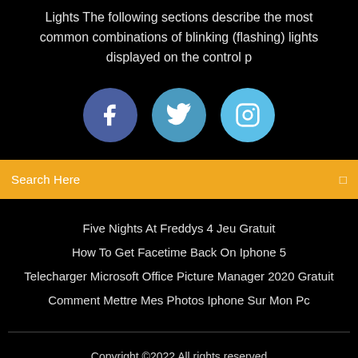Lights The following sections describe the most common combinations of blinking (flashing) lights displayed on the control p
[Figure (infographic): Three social media icon circles: Facebook (dark blue), Twitter (medium blue), Instagram (light blue)]
Search Here
Five Nights At Freddys 4 Jeu Gratuit
How To Get Facetime Back On Iphone 5
Telecharger Microsoft Office Picture Manager 2020 Gratuit
Comment Mettre Mes Photos Iphone Sur Mon Pc
Copyright ©2022 All rights reserved